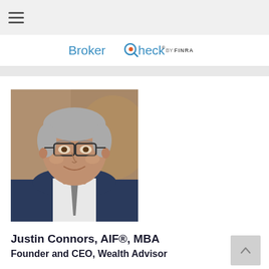[Figure (logo): BrokerCheck by FINRA logo]
[Figure (photo): Professional headshot of Justin Connors, a middle-aged man with silver hair and glasses, wearing a navy suit, smiling]
Justin Connors, AIF®, MBA
Founder and CEO, Wealth Advisor